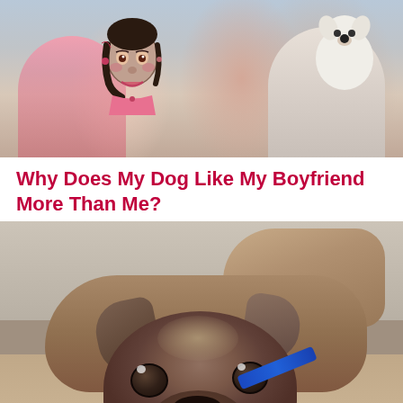[Figure (photo): Photo of a couple holding a small white dog. The woman on the left is wearing a pink top and has tattoos on her arm, visible is a face tattoo on her forearm. A man in a grey shirt is on the right side.]
Why Does My Dog Like My Boyfriend More Than Me?
[Figure (photo): Close-up photo of a young Belgian Malinois or mixed breed puppy lying on a wooden floor, looking up at the camera with big brown eyes. The dog has a blue collar or toy nearby.]